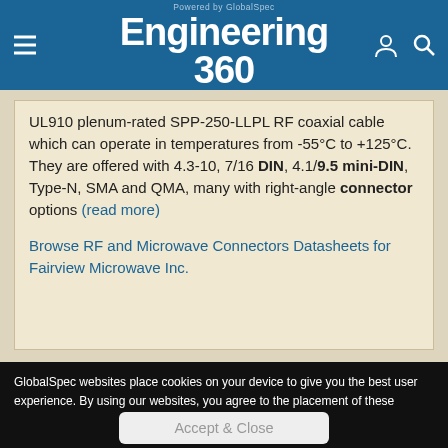Engineering 360 — Powered by GlobalSpec
UL910 plenum-rated SPP-250-LLPL RF coaxial cable which can operate in temperatures from -55°C to +125°C. They are offered with 4.3-10, 7/16 DIN, 4.1/9.5 mini-DIN, Type-N, SMA and QMA, many with right-angle connector options (read more)
Browse RF and Microwave Connectors Datasheets for Fairview Microwave Inc.
GlobalSpec websites place cookies on your device to give you the best user experience. By using our websites, you agree to the placement of these cookies. To learn more, read our Privacy Policy
Accept & Close